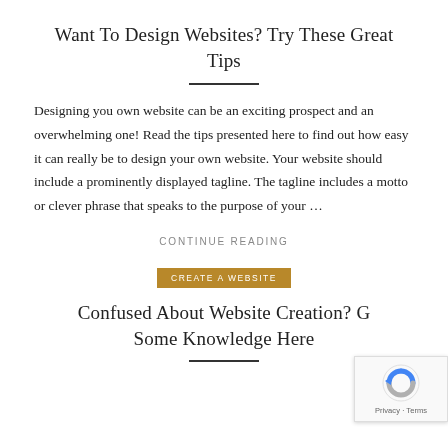Want To Design Websites? Try These Great Tips
Designing you own website can be an exciting prospect and an overwhelming one! Read the tips presented here to find out how easy it can really be to design your own website. Your website should include a prominently displayed tagline. The tagline includes a motto or clever phrase that speaks to the purpose of your …
CONTINUE READING
CREATE A WEBSITE
Confused About Website Creation? G Some Knowledge Here